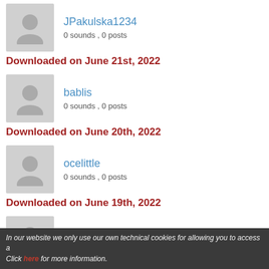JPakulska1234
0 sounds , 0 posts
Downloaded on June 21st, 2022
bablis
0 sounds , 0 posts
Downloaded on June 20th, 2022
ocelittle
0 sounds , 0 posts
Downloaded on June 19th, 2022
jnity
0 sounds , 0 posts
Downloaded on June 17th, 2022
kuzniar
0 sounds , 0 posts
Downloaded on June 14th, 2022
In our website we only use our own technical cookies for allowing you to access a
Click here for more information.